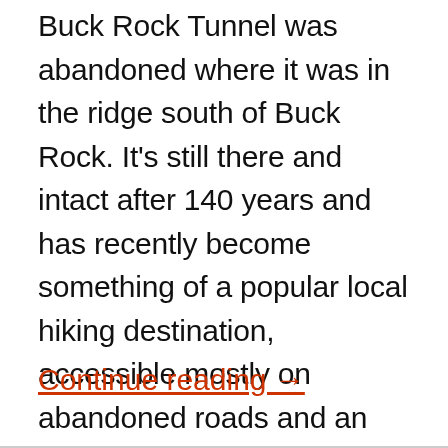Buck Rock Tunnel was abandoned where it was in the ridge south of Buck Rock. It's still there and intact after 140 years and has recently become something of a popular local hiking destination, accessible mostly on abandoned roads and an obvious use trail. It now lies within the Cascade-Siskiyou National Monument and the Bureau of Land Management (BLM) built a small parking lot at the end of the dirt road you can use to access it.
Continue reading →